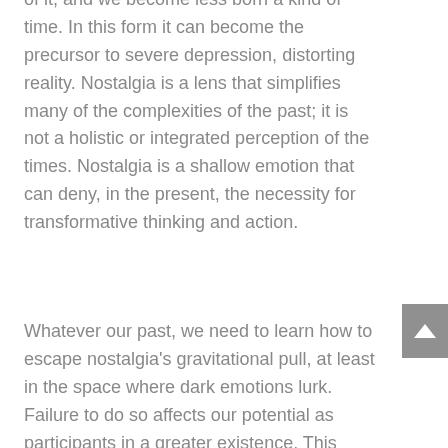of it, and we become less born a kind of time. In this form it can become the precursor to severe depression, distorting reality. Nostalgia is a lens that simplifies many of the complexities of the past; it is not a holistic or integrated perception of the times. Nostalgia is a shallow emotion that can deny, in the present, the necessity for transformative thinking and action.
Whatever our past, we need to learn how to escape nostalgia's gravitational pull, at least in the space where dark emotions lurk. Failure to do so affects our potential as participants in a greater existence. This being so let me metaphorically illustrate what happens when nostalgia or past hurts and disappointments begin to govern our lives.